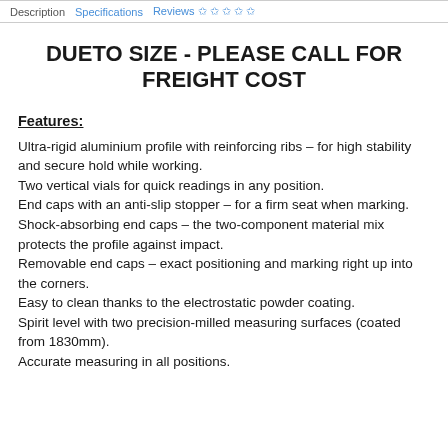Description | Specifications | Reviews
DUETO SIZE - PLEASE CALL FOR FREIGHT COST
Features:
Ultra-rigid aluminium profile with reinforcing ribs – for high stability and secure hold while working.
Two vertical vials for quick readings in any position.
End caps with an anti-slip stopper – for a firm seat when marking.
Shock-absorbing end caps – the two-component material mix protects the profile against impact.
Removable end caps – exact positioning and marking right up into the corners.
Easy to clean thanks to the electrostatic powder coating.
Spirit level with two precision-milled measuring surfaces (coated from 1830mm).
Accurate measuring in all positions.